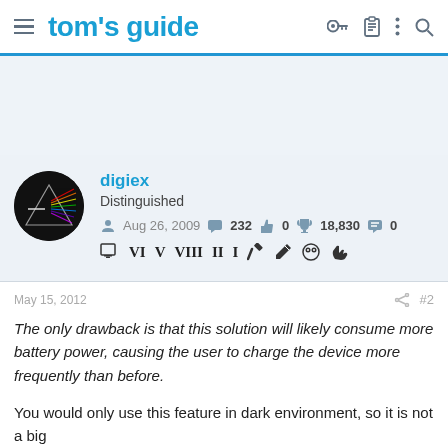tom's guide
[Figure (other): User avatar — Pink Floyd Dark Side of the Moon prism artwork on black circular background]
digiex
Distinguished
Aug 26, 2009  232  0  18,830  0
May 15, 2012  #2
The only drawback is that this solution will likely consume more battery power, causing the user to charge the device more frequently than before.
You would only use this feature in dark environment, so it is not a big